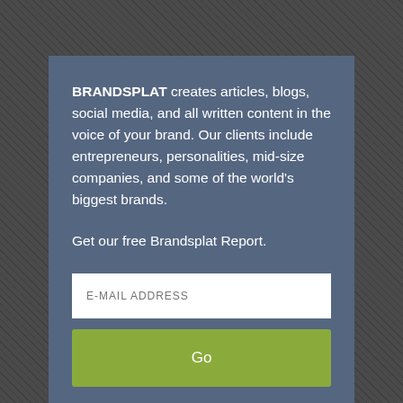BRANDSPLAT creates articles, blogs, social media, and all written content in the voice of your brand. Our clients include entrepreneurs, personalities, mid-size companies, and some of the world's biggest brands.
Get our free Brandsplat Report.
[Figure (other): Email address input field with placeholder text 'E-MAIL ADDRESS' and a green 'Go' button below it]